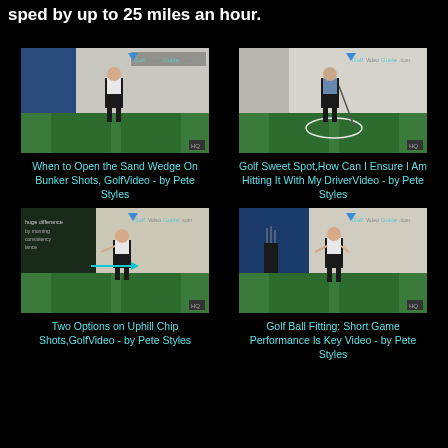sped by up to 25 miles an hour.
[Figure (screenshot): Golf instructor standing on a green mat in a studio with GolfVideoGuide.com logo. HQ badge visible.]
When to Open the Sand Wedge On Bunker Shots, GolfVideo - by Pete Styles
[Figure (screenshot): Golf instructor standing on a green mat with a club in a studio with GolfVideoGuide.com logo. HQ badge visible.]
Golf Sweet Spot,How Can I Ensure I Am Hitting It With My DriverVideo - by Pete Styles
[Figure (screenshot): Golf instructor demonstrating a swing on a green mat in a studio with GolfVideoGuide.com logo and teal arrow overlay. HQ badge visible.]
Two Options on Uphill Chip Shots,GolfVideo - by Pete Styles
[Figure (screenshot): Golf instructor standing on a green mat in a studio with GolfVideoGuide.com logo. HQ badge visible.]
Golf Ball Fitting: Short Game Performance Is Key Video - by Pete Styles